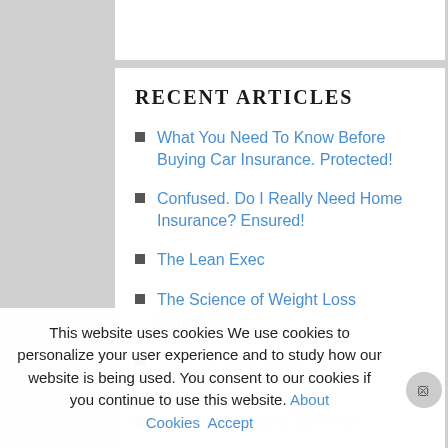RECENT ARTICLES
What You Need To Know Before Buying Car Insurance. Protected!
Confused. Do I Really Need Home Insurance? Ensured!
The Lean Exec
The Science of Weight Loss Summarised
The Five Best Virtual Reality Headsets
The Best Shoulder Camera?
5 Best Meditation and Relaxation
This website uses cookies We use cookies to personalize your user experience and to study how our website is being used. You consent to our cookies if you continue to use this website. About Cookies Accept